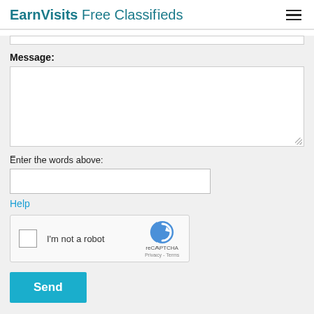EarnVisits Free Classifieds
Message:
Enter the words above:
Help
[Figure (screenshot): reCAPTCHA widget with checkbox labeled I'm not a robot, reCAPTCHA logo, Privacy and Terms links]
Send